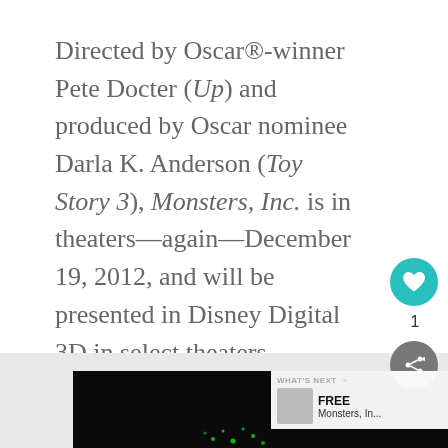Directed by Oscar®-winner Pete Docter (Up) and produced by Oscar nominee Darla K. Anderson (Toy Story 3), Monsters, Inc. is in theaters—again—December 19, 2012, and will be presented in Disney Digital 3D in select theaters.
[Figure (screenshot): Bottom portion showing a dark movie thumbnail with green sparkles, a 'What's Next' panel overlay showing FREE Monsters, In..., a teal heart/like button with count 1, and a grey share button]